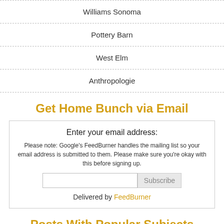Williams Sonoma
Pottery Barn
West Elm
Anthropologie
Get Home Bunch via Email
Enter your email address:
Please note: Google's FeedBurner handles the mailing list so your email address is submitted to them. Please make sure you're okay with this before signing up.
Delivered by FeedBurner
Posts With Popular Subjects
Kitchen Designs